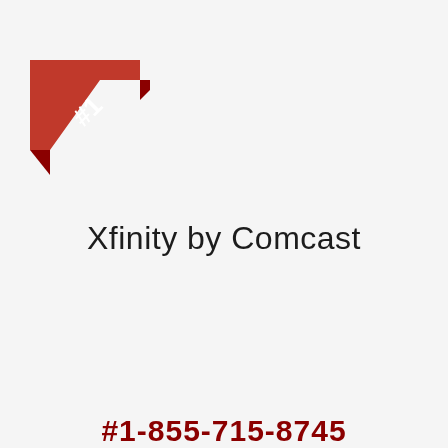[Figure (illustration): #1 ribbon/badge in red with white text in top-left corner]
Xfinity by Comcast
#1-855-715-8745